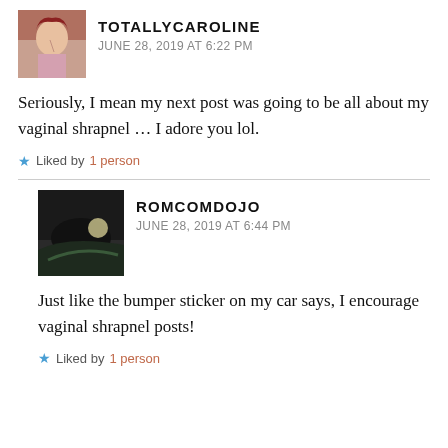[Figure (photo): Avatar photo of a woman with red hair holding a phone, vintage style]
TOTALLYCAROLINE
JUNE 28, 2019 AT 6:22 PM
Seriously, I mean my next post was going to be all about my vaginal shrapnel … I adore you lol.
Liked by 1 person
[Figure (photo): Dark avatar photo showing a night scene with trees and light]
ROMCOMDOJO
JUNE 28, 2019 AT 6:44 PM
Just like the bumper sticker on my car says, I encourage vaginal shrapnel posts!
Liked by 1 person